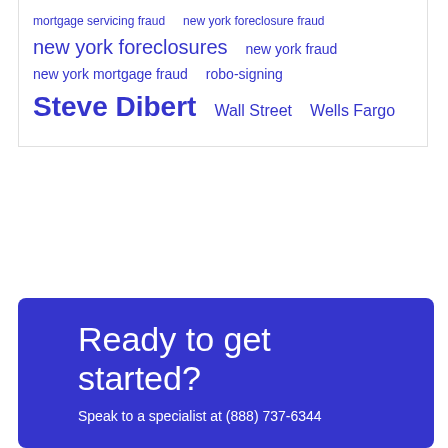mortgage servicing fraud   new york foreclosure fraud   new york foreclosures   new york fraud   new york mortgage fraud   robo-signing   Steve Dibert   Wall Street   Wells Fargo
Ready to get started?
Speak to a specialist at (888) 737-6344